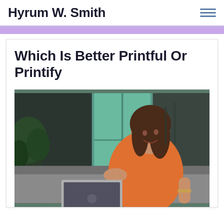Hyrum W. Smith
Which Is Better Printful Or Printify
[Figure (photo): Woman in orange sleeveless top sitting on a couch, smiling and looking at a laptop computer. Blurred indoor background with plants and large windows.]